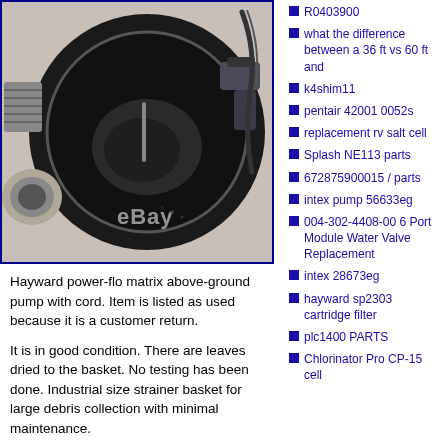[Figure (photo): Top-down view of a Hayward power-flo matrix above-ground pump showing the dark cylindrical pump housing with strainer basket opening, metal fittings on the side, and power cord. eBay watermark visible. Blue border around image.]
Hayward power-flo matrix above-ground pump with cord. Item is listed as used because it is a customer return.
It is in good condition. There are leaves dried to the basket. No testing has been done. Industrial size strainer basket for large debris collection with minimal maintenance.
R0403900
what the difference between a 36 ft vs 60 ft and
k4shim11
pentair 42001 0052s
replacement rv salt cell
Splash NE113 parts
672875900015 / parts
intex pump 56633eg
004-302-4408-00 6 Port Module Water Valve Replacement
intex 28673eg
hayward sp2303 cartridge filter
plc1400 PARTS
Chlorinator Pro CP-15 cell